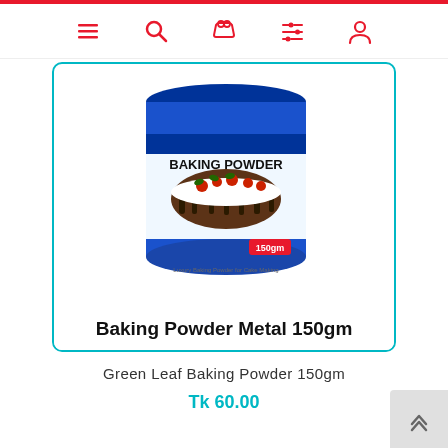[Figure (screenshot): E-commerce website navigation bar with menu, search, cart, list, and user icons in red on white background]
[Figure (photo): Blue metal tin of Green Leaf Baking Powder 150gm with cake image on label, shown in a product card with teal border. Product title 'Baking Powder Metal 150gm' shown below the can.]
Green Leaf Baking Powder 150gm
Tk 60.00